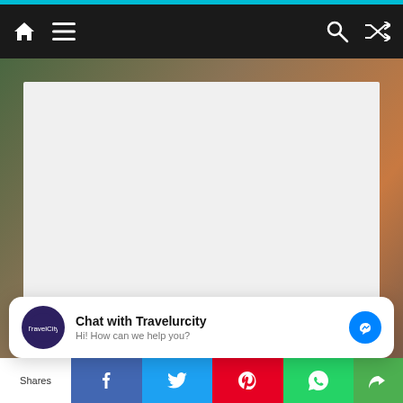Navigation bar with home, menu, search, and shuffle icons
[Figure (screenshot): White/light gray content card placeholder area on top of a travel background image]
Categories
Chat with Travelurcity
Hi! How can we help you?
Shares | Facebook | Twitter | Pinterest | WhatsApp | More